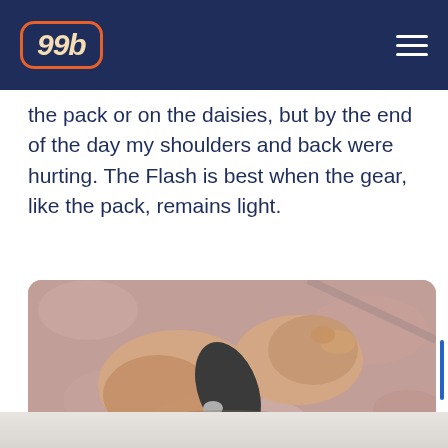99b
the pack or on the daisies, but by the end of the day my shoulders and back were hurting. The Flash is best when the gear, like the pack, remains light.
[Figure (photo): Close-up photo of a person's hands gripping a dark gray climbing harness or gear strap, with a pink/red textured surface visible in the background.]